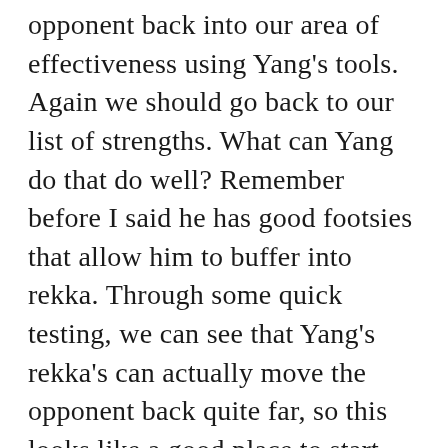opponent back into our area of effectiveness using Yang's tools. Again we should go back to our list of strengths. What can Yang do that do well? Remember before I said he has good footsies that allow him to buffer into rekka. Through some quick testing, we can see that Yang's rekka's can actually move the opponent back quite far, so this looks like a good place to start. What else allows yang to move the opponent back far. The combos close s.mk, close s.mk, hk rollkick is also really effective at move the opponent toward the corner. So let's start building a list.